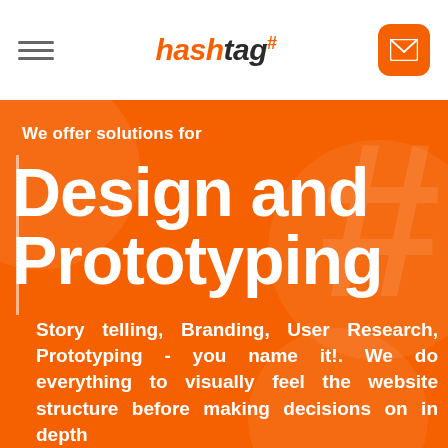hashtag#
We offer solutions for
Design and Prototyping
Story telling, Branding, User Research, Prototyping - you name it!. We do everything to visually feel the website structure before making decisions on in depth